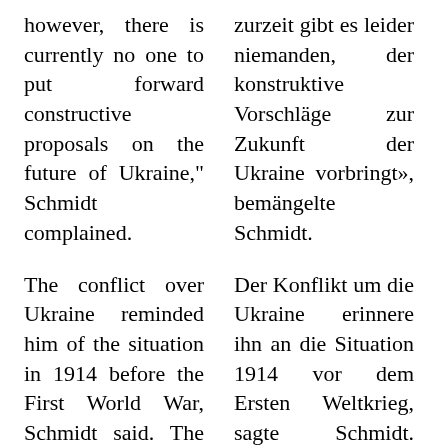however, there is currently no one to put forward constructive proposals on the future of Ukraine," Schmidt complained.
zurzeit gibt es leider niemanden, der konstruktive Vorschläge zur Zukunft der Ukraine vorbringt», bemängelte Schmidt.
The conflict over Ukraine reminded him of the situation in 1914 before the First World War, Schmidt said. The two were "increasingly comparable". He did not want to provoke a Third World War. "But the danger of
Der Konflikt um die Ukraine erinnere ihn an die Situation 1914 vor dem Ersten Weltkrieg, sagte Schmidt. Beides sei «zunehmend vergleichbar». Er wolle keinen Dritten Weltkrieg herbeireden. «Aber die Gefahr, dass sich